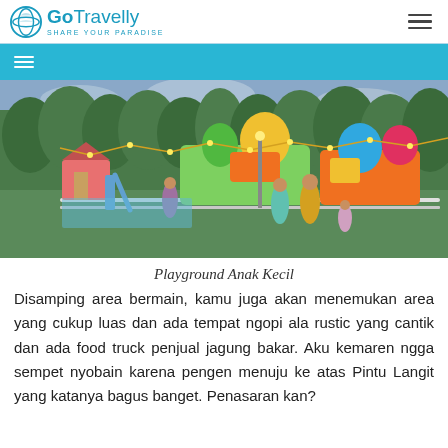GoTravelly SHARE YOUR PARADISE
[Figure (photo): Outdoor playground / amusement area at dusk with string lights, colorful rides and play structures, trees in background, people walking around]
Playground Anak Kecil
Disamping area bermain, kamu juga akan menemukan area yang cukup luas dan ada tempat ngopi ala rustic yang cantik dan ada food truck penjual jagung bakar. Aku kemaren ngga sempet nyobain karena pengen menuju ke atas Pintu Langit yang katanya bagus banget. Penasaran kan?